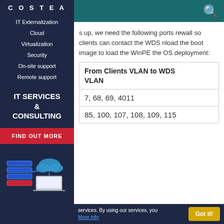COSTEA
IT Externalization
Cloud
Virtualization
Security
On-site support
Remote support
IT SERVICES & CONSULTING
s up, we need the following ports rewall so clients can contact the WDS nload the boot image to load the WinPE the OS deployment:
| From Clients VLAN to WDS VLAN |
| --- |
| 7, 68, 69, 4011 |
| 85, 100, 107, 108, 109, 115 |
services. By using our services, you  More info